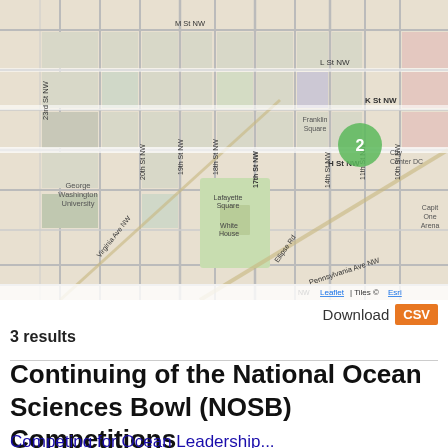[Figure (map): Street map of Washington DC area near the White House, George Washington University, and downtown DC. Shows a green cluster marker labeled '2' near Franklin Square / City Center DC. Map tiles attributed to Leaflet and Esri.]
Download CSV
3 results
Continuing of the National Ocean Sciences Bowl (NOSB) Competitions
Competing for Ocean Leadership ...